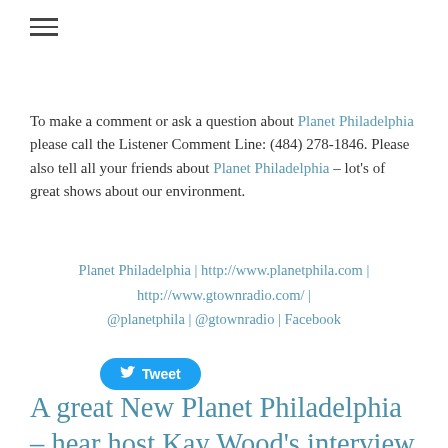≡
To make a comment or ask a question about Planet Philadelphia please call the Listener Comment Line: (484) 278-1846. Please also tell all your friends about Planet Philadelphia – lot's of great shows about our environment.
Planet Philadelphia | http://www.planetphila.com | http://www.gtownradio.com/ | @planetphila | @gtownradio | Facebook
[Figure (other): Tweet button with Twitter bird icon]
A great New Planet Philadelphia – hear host Kay Wood's interview with State Senator Art Haywood, 4:00 pm this Friday, April 1st, streaming on Gtown Radio